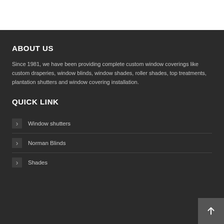ABOUT US
Since 1981, we have been providing complete custom window coverings like custom draperies, window blinds, window shades, roller shades, top treatments, plantation shutters and window covering installation.
QUICK LINK
Window shutters
Norman Blinds
Shades